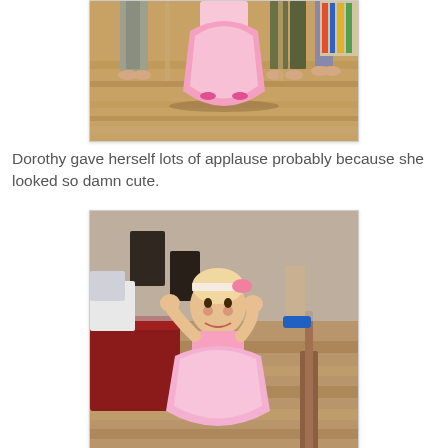[Figure (photo): Photo showing the lower bodies and bare feet of several people standing on a hardwood floor, with a small child in a pink dress in the center.]
Dorothy gave herself lots of applause probably because she looked so damn cute.
[Figure (photo): Photo of a small toddler girl in a pink dress and pink headband, clapping her hands, standing on a wooden floor inside a room with red furniture visible.]